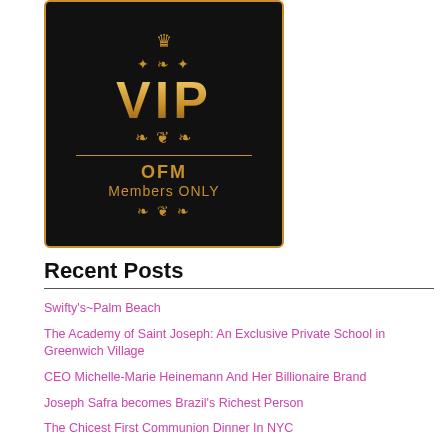[Figure (illustration): Black VIP card with gold border and gold ornamental decorations. Large gold gradient 'VIP' text in center, crown symbol at top, ornamental scrollwork above and below, horizontal divider line, 'OFM' and 'Members ONLY' text at bottom with ornamental design.]
Recent Posts
Swifty's~Palm Beach
The Academy of Saint Joseph: An Exclusive Private School in Greenwich Village
CEO Michelle-Marie Heinemann And Her Billionaire Brand
Joseph Safra becomes Brazil's Richest Person
The Chicest First Communion Dinner In NYC
In Goop Health 2019 Summit Takes New York